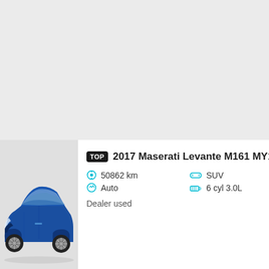[Figure (photo): Blue Maserati Levante SUV parked, viewed from front-left angle]
TOP 2017 Maserati Levante M161 MY18...
50862 km | SUV | Auto | 6 cyl 3.0L
Dealer used